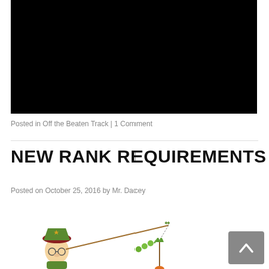[Figure (photo): Black rectangle representing an embedded video or image placeholder]
Posted in Off the Beaten Track | 1 Comment
NEW RANK REQUIREMENTS
Posted on October 25, 2016 by Mr. Dacey
[Figure (illustration): Cartoon illustration of a scout character wearing a red and green hat fishing near plants/vegetables including a carrot plant]
[Figure (other): Gray scroll-to-top button with upward pointing chevron arrow]